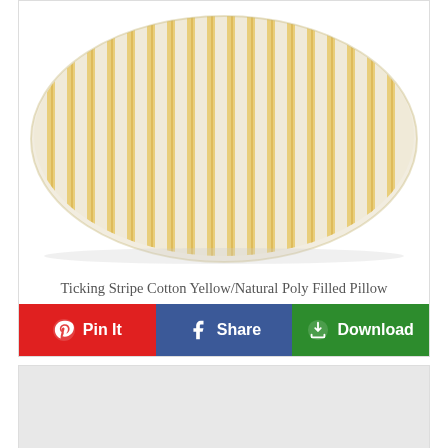[Figure (photo): A decorative pillow with yellow and natural/cream ticking stripe pattern. The pillow is plump and square-shaped, photographed against a white background. The fabric has vertical alternating yellow and cream/off-white stripes with a woven texture.]
Ticking Stripe Cotton Yellow/Natural Poly Filled Pillow
[Figure (screenshot): A row of three social sharing buttons: Pin It (red background with Pinterest icon), Share (blue background with Facebook icon), Download (green background with download icon)]
[Figure (photo): Partial view of a second product card with light grey background, partially cropped at the bottom of the page.]